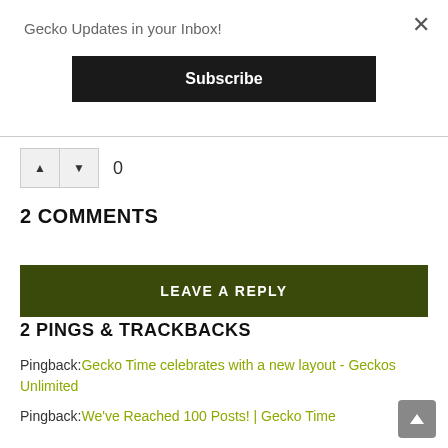Gecko Updates in your Inbox!
Subscribe
0
2 COMMENTS
LEAVE A REPLY
2 PINGS & TRACKBACKS
Pingback: Gecko Time celebrates with a new layout - Geckos Unlimited
Pingback: We've Reached 100 Posts! | Gecko Time